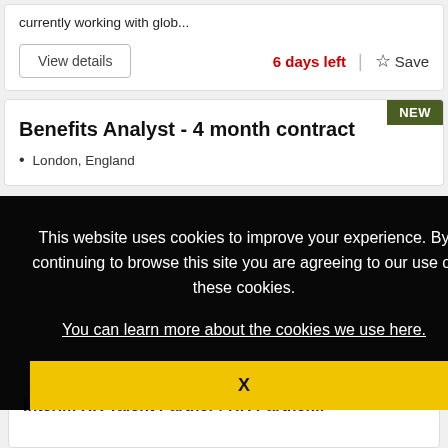currently working with glob...
View details
6 days left
Save
Benefits Analyst - 4 month contract
NEW
London, England
This website uses cookies to improve your experience. By continuing to browse this site you are agreeing to our use of these cookies.
You can learn more about the cookies we use here.
X
Interim HR Talent Partner / HR Partner...